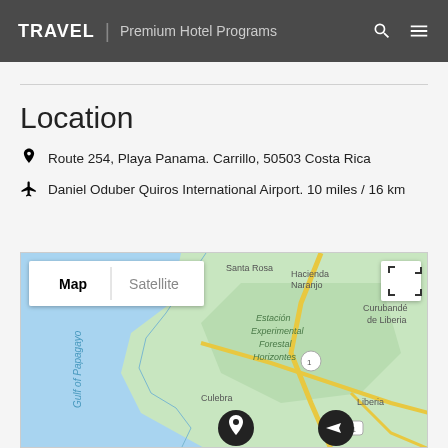TRAVEL | Premium Hotel Programs
Location
Route 254, Playa Panama. Carrillo, 50503 Costa Rica
Daniel Oduber Quiros International Airport. 10 miles / 16 km
[Figure (map): Google Maps view showing coastal area of Costa Rica near Playa Panama, Gulf of Papagayo, with locations including Santa Rosa, Hacienda Naranjo, Estación Experimental Forestal Horizontes, Curubandé de Liberia, Culebra, Liberia, and map pins for the hotel and airport. Map/Satellite toggle and expand button visible.]